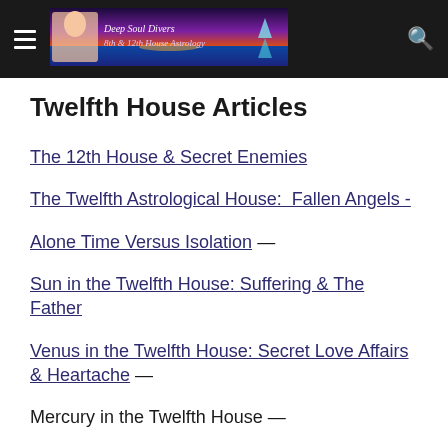Deep Soul Divers 8th & 12th House Astrology
Twelfth House Articles
The 12th House & Secret Enemies
The Twelfth Astrological House:  Fallen Angels -
Alone Time Versus Isolation —
Sun in the Twelfth House: Suffering & The Father
Venus in the Twelfth House: Secret Love Affairs & Heartache —
Mercury in the Twelfth House —